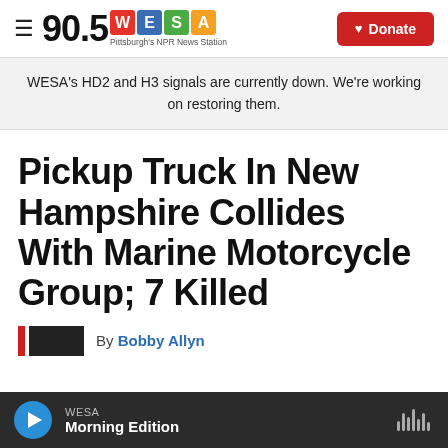90.5 WESA — Pittsburgh's NPR News Station | Donate
WESA's HD2 and H3 signals are currently down. We're working on restoring them.
Pickup Truck In New Hampshire Collides With Marine Motorcycle Group; 7 Killed
By Bobby Allyn
WESA Morning Edition